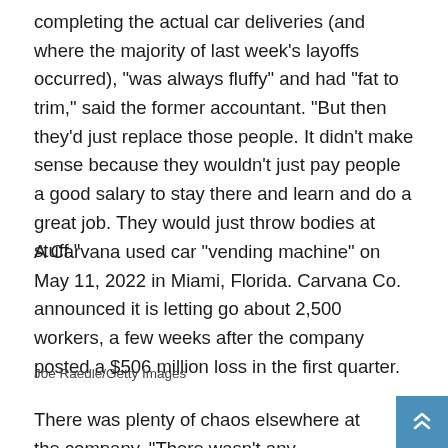completing the actual car deliveries (and where the majority of last week's layoffs occurred), "was always fluffy" and had "fat to trim," said the former accountant. "But then they'd just replace those people. It didn't make sense because they wouldn't just pay people a good salary to stay there and learn and do a great job. They would just throw bodies at stuff."
A Carvana used car "vending machine" on May 11, 2022 in Miami, Florida. Carvana Co. announced it is letting go about 2,500 workers, a few weeks after the company posted a $506 million loss in the first quarter.
Joe Raedle/Getty Images
There was plenty of chaos elsewhere at the company. "There wasn't any assigned seating or real tracking of